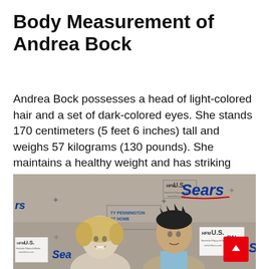Body Measurement of Andrea Bock
Andrea Bock possesses a head of light-colored hair and a set of dark-colored eyes. She stands 170 centimeters (5 feet 6 inches) tall and weighs 57 kilograms (130 pounds). She maintains a healthy weight and has striking characteristics across her face.
[Figure (photo): Andrea Bock and Ty Pennington posing at a red carpet event with Sears and HFM US branding visible in the background.]